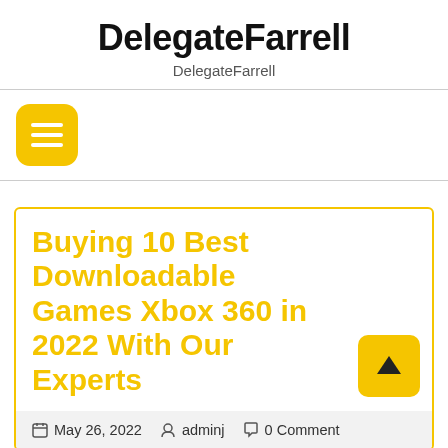DelegateFarrell
DelegateFarrell
[Figure (other): Yellow rounded square hamburger menu button with three white horizontal lines]
Buying 10 Best Downloadable Games Xbox 360 in 2022 With Our Experts
May 26, 2022  adminj  0 Comment